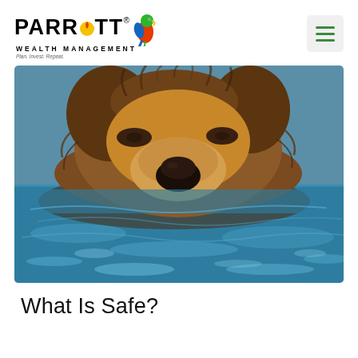PARROTT WEALTH MANAGEMENT — Plan. Invest. Repeat.
[Figure (photo): Close-up photograph of a brown bear swimming in blue water, with its wet fur visible above the waterline, looking directly at the camera.]
What Is Safe?